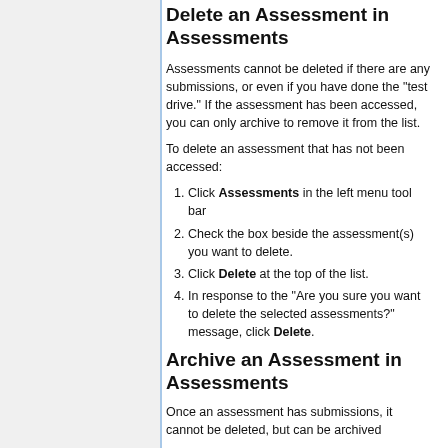Delete an Assessment in Assessments
Assessments cannot be deleted if there are any submissions, or even if you have done the "test drive." If the assessment has been accessed, you can only archive to remove it from the list.
To delete an assessment that has not been accessed:
Click Assessments in the left menu tool bar
Check the box beside the assessment(s) you want to delete.
Click Delete at the top of the list.
In response to the "Are you sure you want to delete the selected assessments?" message, click Delete.
Archive an Assessment in Assessments
Once an assessment has submissions, it cannot be deleted, but can be archived